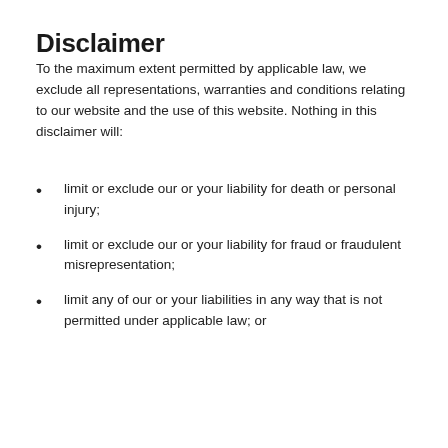Disclaimer
To the maximum extent permitted by applicable law, we exclude all representations, warranties and conditions relating to our website and the use of this website. Nothing in this disclaimer will:
limit or exclude our or your liability for death or personal injury;
limit or exclude our or your liability for fraud or fraudulent misrepresentation;
limit any of our or your liabilities in any way that is not permitted under applicable law; or